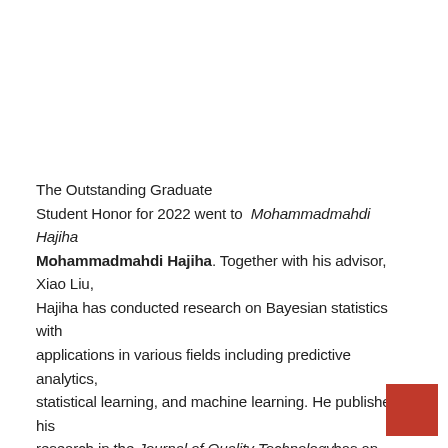The Outstanding Graduate Student Honor for 2022 went to Mohammadmahdi Hajiha Mohammadmahdi Hajiha. Together with his advisor, Xiao Liu, Hajiha has conducted research on Bayesian statistics with applications in various fields including predictive analytics, statistical learning, and machine learning. He published his research in the Journal of Quality Technology has an article undergoing second-round review with the Journal of Systems Reliability and Safety Engineering and author of a book chapter in the Smart Energy Systems Handbook. He completed an operational research internship at FedEx Freight, within the network optimization team. He was also active on campus.